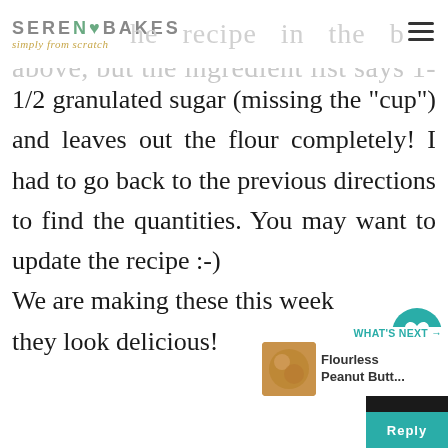SERENA BAKES simply from scratch
the recipe in the box above, but the ingredient list says 1-1/2 granulated sugar (missing the "cup") and leaves out the flour completely! I had to go back to the previous directions to find the quantities. You may want to update the recipe :-) We are making these this week they look delicious!
[Figure (other): What's Next panel showing Flourless Peanut Butt... with thumbnail, teal arrow header, heart like button (56 likes), share button, Reply button]